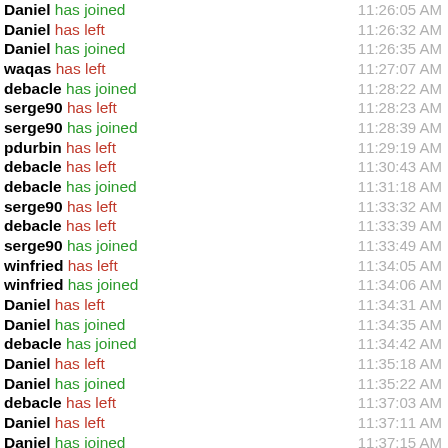Daniel has joined 11:26:05 AM
Daniel has left 11:26:32 AM
Daniel has joined 11:26:35 AM
waqas has left 11:27:07 AM
debacle has joined 11:28:22 AM
serge90 has left 11:28:23 AM
serge90 has joined 11:28:39 AM
pdurbin has left 11:29:19 AM
debacle has left 11:30:43 AM
debacle has joined 11:31:18 AM
serge90 has left 11:33:32 AM
debacle has left 11:33:39 AM
serge90 has joined 11:33:49 AM
winfried has left 11:34:05 AM
winfried has joined 11:34:06 AM
Daniel has left 11:34:31 AM
Daniel has joined 11:34:35 AM
debacle has joined 11:34:42 AM
Daniel has left 11:35:18 AM
Daniel has joined 11:35:22 AM
debacle has left 11:37:03 AM
Daniel has left 11:37:11 AM
Daniel has joined 11:37:15 AM
xsf has joined 11:37:22 AM
debacle has joined 11:37:38 AM